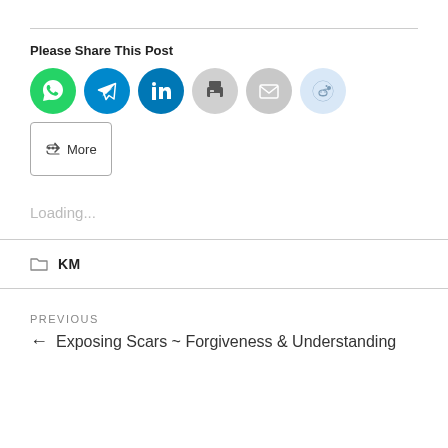Please Share This Post
[Figure (infographic): Social share buttons: WhatsApp (green circle), Telegram (blue circle), LinkedIn (blue circle), Print (gray circle), Email (gray circle), Reddit (light blue circle), and a More button with share icon]
Loading...
KM
PREVIOUS
← Exposing Scars ~ Forgiveness & Understanding